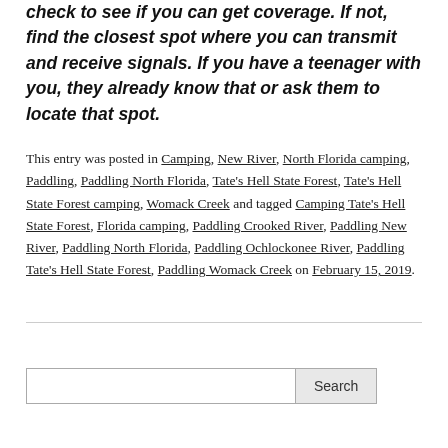check to see if you can get coverage. If not, find the closest spot where you can transmit and receive signals. If you have a teenager with you, they already know that or ask them to locate that spot.
This entry was posted in Camping, New River, North Florida camping, Paddling, Paddling North Florida, Tate's Hell State Forest, Tate's Hell State Forest camping, Womack Creek and tagged Camping Tate's Hell State Forest, Florida camping, Paddling Crooked River, Paddling New River, Paddling North Florida, Paddling Ochlockonee River, Paddling Tate's Hell State Forest, Paddling Womack Creek on February 15, 2019.